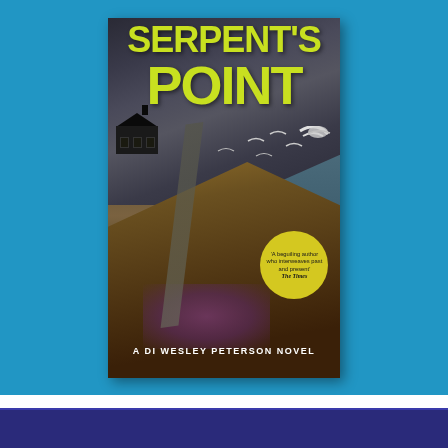[Figure (illustration): Book cover for 'Serpent's Point' — A DI Wesley Peterson Novel. The cover shows a dramatic cliff-top scene with a dark house perched on the left, stormy skies with birds, a coastal path winding down the cliff, heather, and sea in the background. A yellow circle badge reads 'A beguiling author who interweaves past and present' The Times. The title 'SERPENT'S POINT' is displayed in bold yellow-green text at the top. The cover is set against a bright blue background.]